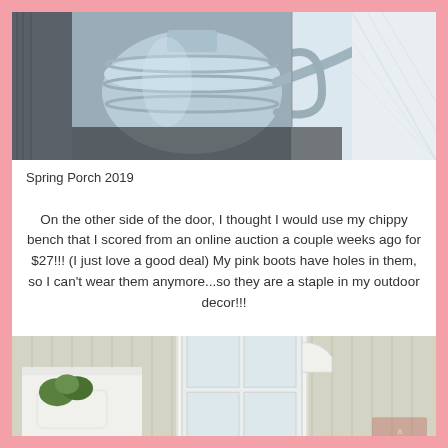[Figure (photo): A galvanized metal watering can with light blue tones, shown close-up on a porch setting with a white wicker chair visible in the background on the right side.]
Spring Porch 2019
On the other side of the door, I thought I would use my chippy bench that I scored from an online auction a couple weeks ago for $27!!! (I just love a good deal) My pink boots have holes in them, so I can't wear them anymore...so they are a staple in my outdoor decor!!!
[Figure (photo): A white chippy bench or shelf on a porch against a beige vertical siding wall, with a window frame visible and a white wire basket planter with green plants. A semi-transparent watermark/logo overlay is visible in the bottom right corner.]